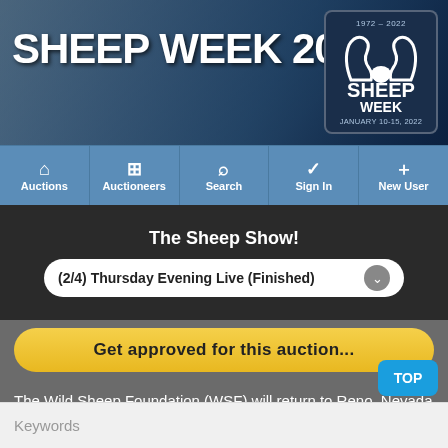[Figure (screenshot): Sheep Week 2022 banner with mountain sheep and logo, blue mountain background]
SHEEP WEEK 2022
The Sheep Show!
(2/4) Thursday Evening Live (Finished)
Get approved for this auction...
The Wild Sheep Foundation (WSF) will return to Reno, Nevada to hold it's Annual Convention and fundraiser at the Peppermill Resort Spa-Casino & Reno Sparks Convention Center. The "Sheep Show Convention & Sporting Expo" will open Wednesday, January 20th wi
Keywords